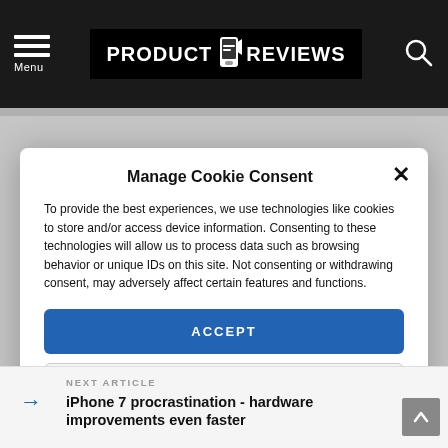Menu | PRODUCT REVIEWS
Manage Cookie Consent
To provide the best experiences, we use technologies like cookies to store and/or access device information. Consenting to these technologies will allow us to process data such as browsing behavior or unique IDs on this site. Not consenting or withdrawing consent, may adversely affect certain features and functions.
ACCEPT
VIEW PREFERENCES
Cookie Policy  Privacy Policy
NEXT ARTICLE
iPhone 7 procrastination - hardware improvements even faster